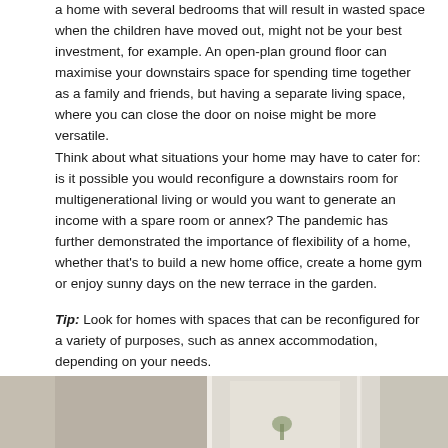a home with several bedrooms that will result in wasted space when the children have moved out, might not be your best investment, for example. An open-plan ground floor can maximise your downstairs space for spending time together as a family and friends, but having a separate living space, where you can close the door on noise might be more versatile.
Think about what situations your home may have to cater for: is it possible you would reconfigure a downstairs room for multigenerational living or would you want to generate an income with a spare room or annex? The pandemic has further demonstrated the importance of flexibility of a home, whether that's to build a new home office, create a home gym or enjoy sunny days on the new terrace in the garden.
Tip: Look for homes with spaces that can be reconfigured for a variety of purposes, such as annex accommodation, depending on your needs.
[Figure (photo): Interior photo showing a bright room with windows and curtains, partially visible at the bottom of the page]